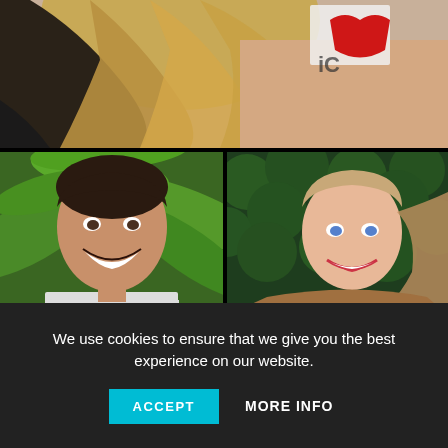[Figure (photo): Top photo: cropped image of a blonde woman at what appears to be a media event, showing hair and bare shoulders, with iHeartRadio logo visible in background]
[Figure (photo): Bottom left photo: dark-haired smiling young man in front of tropical green foliage backdrop, wearing light grey t-shirt]
[Figure (photo): Bottom right photo: blonde young woman looking over her shoulder and smiling, wearing brown top, in front of dark green hedge backdrop]
We use cookies to ensure that we give you the best experience on our website.
ACCEPT
MORE INFO